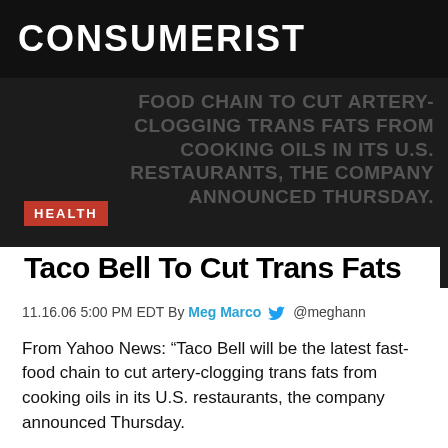CONSUMERIST
[Figure (screenshot): Dark hero image with overlaid text: FOOD CHAIN TO CUT ARTERY-CLOGGING TRANS FATS FROM COOKING OIL IN ITS U.S. RESTAURANTS, THE COMPANY ANNOUNCED THURSDAY.]
HEALTH
Taco Bell To Cut Trans Fats
11.16.06 5:00 PM EDT By Meg Marco @meghann
From Yahoo News: “Taco Bell will be the latest fast-food chain to cut artery-clogging trans fats from cooking oils in its U.S. restaurants, the company announced Thursday.
The nation’s largest seller of quick service Mexican-style